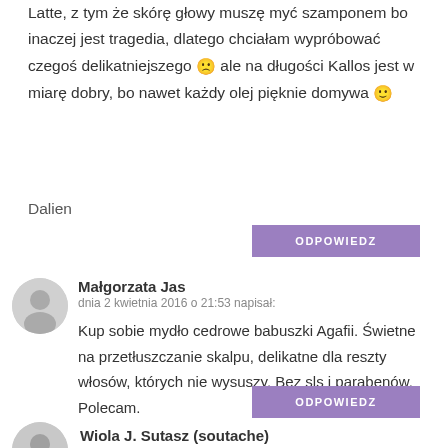Latte, z tym że skórę głowy muszę myć szamponem bo inaczej jest tragedia, dlatego chciałam wypróbować czegoś delikatniejszego 🙁 ale na długości Kallos jest w miarę dobry, bo nawet każdy olej pięknie domywa 🙂
Dalien
ODPOWIEDZ
Małgorzata Jas
dnia 2 kwietnia 2016 o 21:53 napisał:
Kup sobie mydło cedrowe babuszki Agafii. Świetne na przetłuszczanie skalpu, delikatne dla reszty włosów, których nie wysuszy. Bez sls i parabenów. Polecam.
ODPOWIEDZ
Wiola J. Sutasz (soutache)